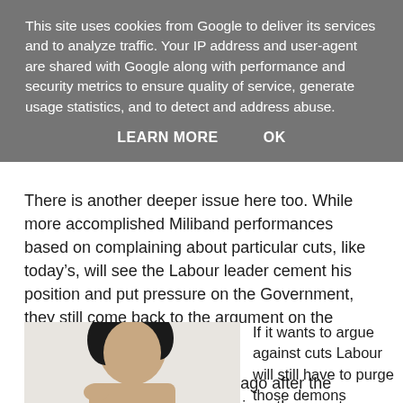This site uses cookies from Google to deliver its services and to analyze traffic. Your IP address and user-agent are shared with Google along with performance and security metrics to ensure quality of service, generate usage statistics, and to detect and address abuse.
LEARN MORE    OK
There is another deeper issue here too. While more accomplished Miliband performances based on complaining about particular cuts, like today's, will see the Labour leader cement his position and put pressure on the Government, they still come back to the argument on the economy.
That debate was won months ago after the Government managed to convince the country there was a big deficit and that cuts were necessary.
[Figure (photo): Photo of a person with dark hair, appearing to gesture with their hand, against a light background]
If it wants to argue against cuts Labour will still have to purge those demons wailing that they were in charge